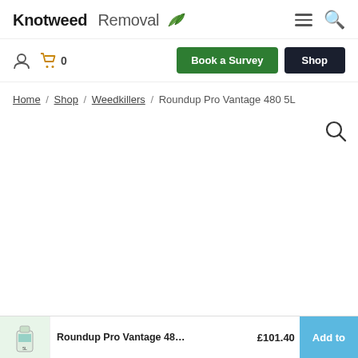Knotweed Removal
Home / Shop / Weedkillers / Roundup Pro Vantage 480 5L
Roundup Pro Vantage 48... £101.40
Add to